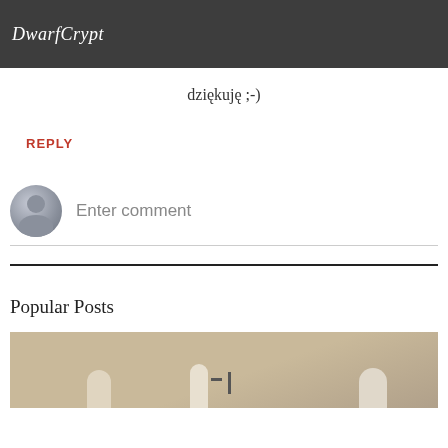DwarfCrypt
dziękuję ;-)
REPLY
Enter comment
Popular Posts
[Figure (photo): A graveyard scene with tombstones and a cross on a sandy/beige background]